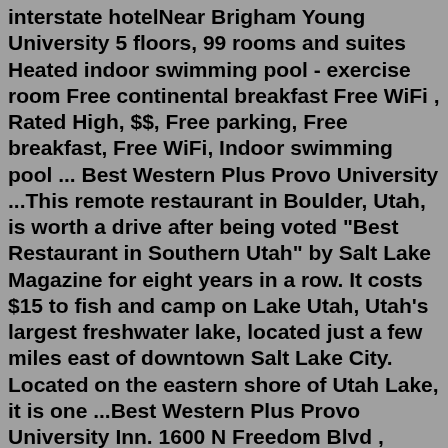interstate hotelNear Brigham Young University 5 floors, 99 rooms and suites Heated indoor swimming pool - exercise room Free continental breakfast Free WiFi , Rated High, $$, Free parking, Free breakfast, Free WiFi, Indoor swimming pool ... Best Western Plus Provo University ...This remote restaurant in Boulder, Utah, is worth a drive after being voted "Best Restaurant in Southern Utah" by Salt Lake Magazine for eight years in a row. It costs $15 to fish and camp on Lake Utah, Utah's largest freshwater lake, located just a few miles east of downtown Salt Lake City. Located on the eastern shore of Utah Lake, it is one ...Best Western Plus Provo University Inn. 1600 N Freedom Blvd , Provo, Utah 84604. 855-516-1090. Reserve. Outstanding value on upcoming dates. Photos & Overview. Room Rates. Amenities.Utah; Provo; Find a Hotel. Where are you going? GB. Great Britain; Rest Of World; Enter a hotel, place, postcode or attraction. Check in. Tue, 28/01. 1 night. Check out. Wed, 29/01. Check in. Check out. ... Build up a list of your favourite Best Western hotels so that you